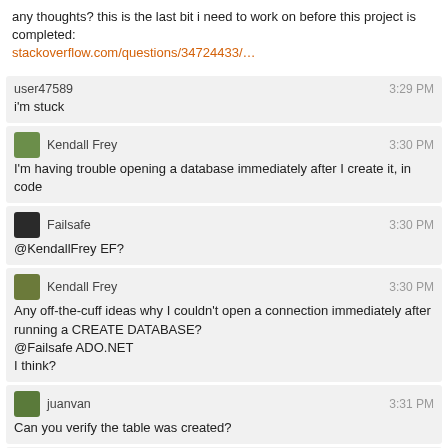any thoughts? this is the last bit i need to work on before this project is completed: stackoverflow.com/questions/34724433/…
user47589  3:29 PM
i'm stuck
Kendall Frey  3:30 PM
I'm having trouble opening a database immediately after I create it, in code
Failsafe  3:30 PM
@KendallFrey EF?
Kendall Frey  3:30 PM
Any off-the-cuff ideas why I couldn't open a connection immediately after running a CREATE DATABASE?
@Failsafe ADO.NET
I think?
juanvan  3:31 PM
Can you verify the table was created?
JakobMillah  3:31 PM
use db; ???
Kendall Frey  3:31 PM
no
Xariez  3:31 PM